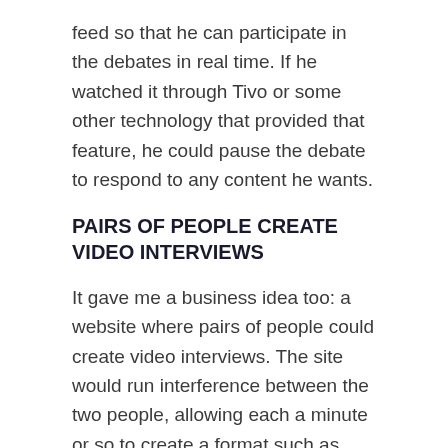feed so that he can participate in the debates in real time. If he watched it through Tivo or some other technology that provided that feature, he could pause the debate to respond to any content he wants.
PAIRS OF PEOPLE CREATE VIDEO INTERVIEWS
It gave me a business idea too: a website where pairs of people could create video interviews. The site would run interference between the two people, allowing each a minute or so to create a format such as response/prompt. Or, maybe they trust each other enough that the site imposes no time limit.